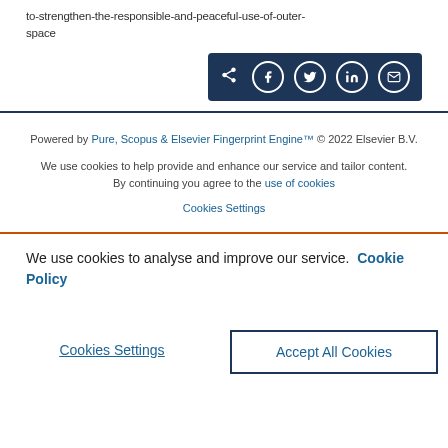to-strengthen-the-responsible-and-peaceful-use-of-outer-space
[Figure (other): Share buttons bar with dark blue background containing share icon and social media icons for Facebook, Twitter, LinkedIn, and Email]
Powered by Pure, Scopus & Elsevier Fingerprint Engine™ © 2022 Elsevier B.V.
We use cookies to help provide and enhance our service and tailor content. By continuing you agree to the use of cookies
Cookies Settings
We use cookies to analyse and improve our service. Cookie Policy
Cookies Settings
Accept All Cookies